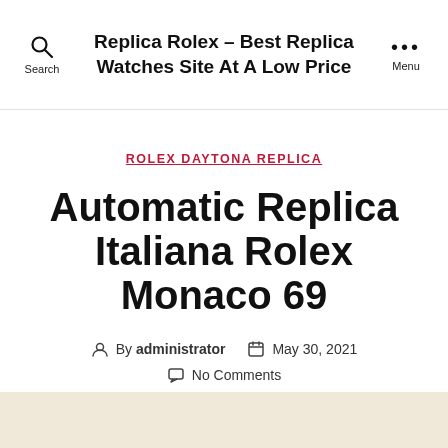Replica Rolex - Best Replica Watches Site At A Low Price
ROLEX DAYTONA REPLICA
Automatic Replica Italiana Rolex Monaco 69
By administrator   May 30, 2021   No Comments